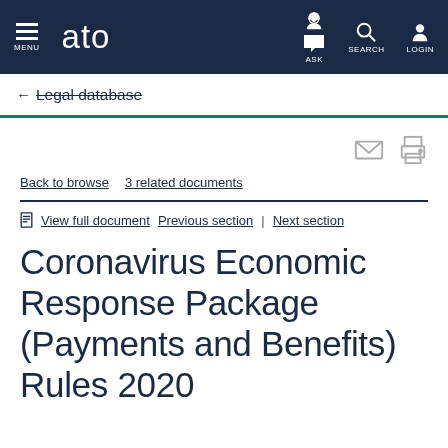MENU  ato  ASK  SEARCH  LOGIN
← Legal database
[Figure (other): Email icon and print icon action buttons]
Back to browse   3 related documents
View full document   Previous section  |  Next section
Coronavirus Economic Response Package (Payments and Benefits) Rules 2020